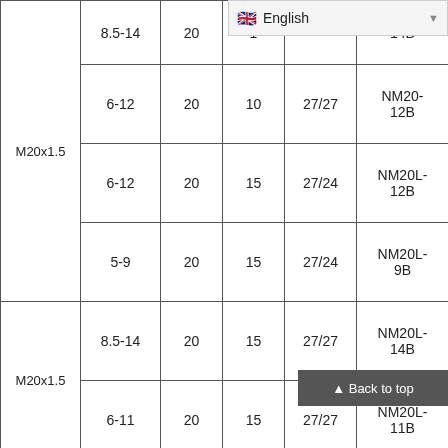| Spec | Range | Col3 | Col4 | Col5 | Part |
| --- | --- | --- | --- | --- | --- |
| M20x1.5 | 8.5-14 | 20 | 1x |  | 14B |
|  | 6-12 | 20 | 10 | 27/27 | NM20-12B |
|  | 6-12 | 20 | 15 | 27/24 | NM20L-12B |
|  | 5-9 | 20 | 15 | 27/24 | NM20L-9B |
| M20x1.5 | 8.5-14 | 20 | 15 | 27/27 | NM20L-14B |
|  | 6-11 | 20 | 15 | 27/27 | NM20L-11B |
|  | 9-14 | 22 | 10 | 29/27 | 14B |